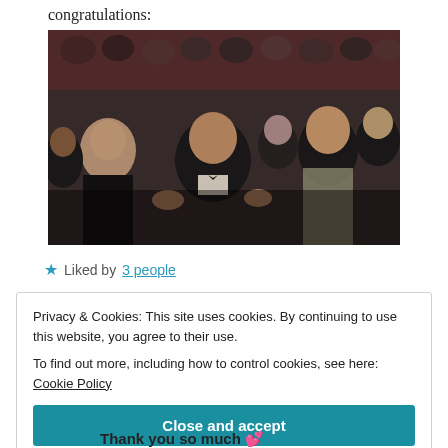congratulations:
[Figure (photo): A crowd of formally dressed people applauding at what appears to be an awards ceremony. A man in a tuxedo and a woman in a sparkly dress are prominently featured clapping and smiling.]
★ Liked by 3 people
Privacy & Cookies: This site uses cookies. By continuing to use this website, you agree to their use.
To find out more, including how to control cookies, see here: Cookie Policy
Close and accept
Thank you so much 💝